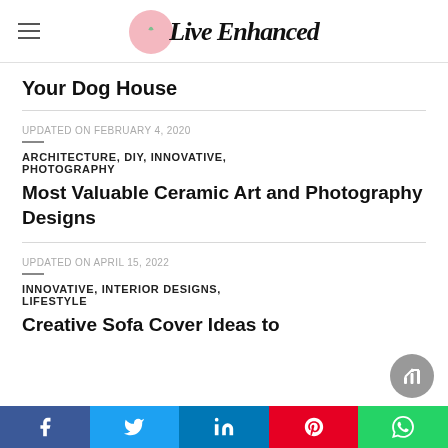Live Enhanced
Your Dog House
UPDATED ON FEBRUARY 4, 2020
ARCHITECTURE, DIY, INNOVATIVE, PHOTOGRAPHY
Most Valuable Ceramic Art and Photography Designs
UPDATED ON APRIL 15, 2022
INNOVATIVE, INTERIOR DESIGNS, LIFESTYLE
Creative Sofa Cover Ideas to